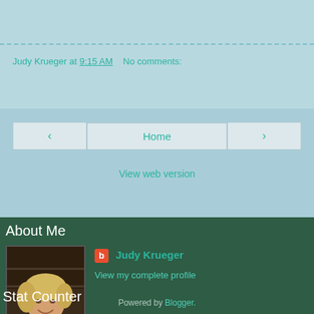Judy Krueger at 9:15 AM   No comments:
Share
‹
Home
›
View web version
About Me
[Figure (photo): Profile photo of Judy Krueger, a woman with blonde hair smiling]
Judy Krueger
View my complete profile
Stat Counter
Powered by Blogger.